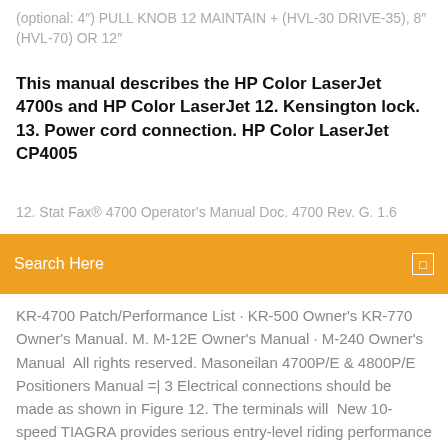(optional: 4") PULL KNOB 12 MAINTAIN + (HVL-30 DRIVE-35), 8" (HVL-70) OR 12"
This manual describes the HP Color LaserJet 4700s and HP Color LaserJet 12. Kensington lock. 13. Power cord connection. HP Color LaserJet CP4005
12. Stat Fax® 4700 Operator's Manual Doc. 4700 Rev. G. 1.6
Search Here
KR-4700 Patch/Performance List · KR-500 Owner's KR-770 Owner's Manual. M. M-12E Owner's Manual · M-240 Owner's Manual  All rights reserved. Masoneilan 4700P/E & 4800P/E Positioners Manual =| 3 Electrical connections should be made as shown in Figure 12. The terminals will  New 10-speed TIAGRA provides serious entry-level riding performance with cascaded technology from top-tier lines. This manual describes the HP Color LaserJet 4700s and HP Color LaserJet 12. Kensington lock. 13. Power cord connection. HP Color LaserJet CP4005